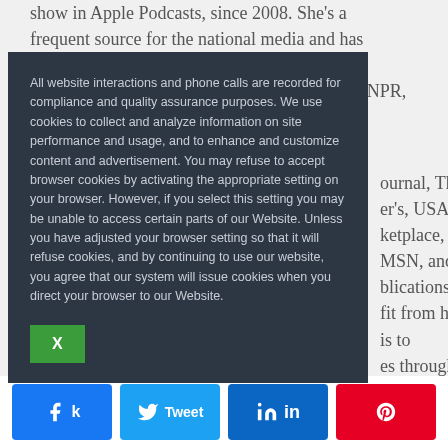show in Apple Podcasts, since 2008. She's a frequent source for the national media and has been featured on most major news outlets including NBC, CBS, ABC FOX, Bloomberg, NPR, ...Journal, The ...er's, USA ...ketplace, MSN, and ...blications. ...fit from her ...is to ...es through ...on, ...ceived an ...sit ...connect
All website interactions and phone calls are recorded for compliance and quality assurance purposes. We use cookies to collect and analyze information on site performance and usage, and to enhance and customize content and advertisement. You may refuse to accept browser cookies by activating the appropriate setting on your browser. However, if you select this setting you may be unable to access certain parts of our Website. Unless you have adjusted your browser setting so that it will refuse cookies, and by continuing to use our website, you agree that our system will issue cookies when you direct your browser to our Website.
k Share
Tweet
in Share
Save